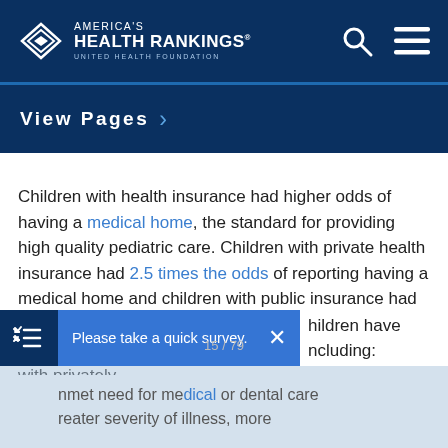America's Health Rankings — United Health Foundation
View Pages
Children with health insurance had higher odds of having a medical home, the standard for providing high quality pediatric care. Children with private health insurance had 2.5 times the odds of reporting having a medical home and children with public insurance had 1.3 times the odds of reporting having a medical home compared with uninsured children. When compared with privately insured children have including:
Please take a quick survey.
unmet need for medical or dental care greater severity of illness, more